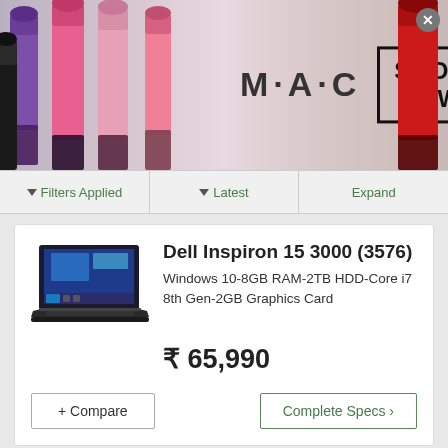[Figure (photo): MAC cosmetics advertisement banner with colorful lipsticks and 'MAC' logo text with 'SHOP NOW' box]
Filters Applied | Latest | Expand
Dell Inspiron 15 3000 (3576)
Windows 10-8GB RAM-2TB HDD-Core i7 8th Gen-2GB Graphics Card
₹ 65,990
+ Compare
Complete Specs ›
[Figure (photo): Forex Ratings advertisement banner with FR logo, headline 'Best Forex Brokers for profitable trading', subtext and arrow button]